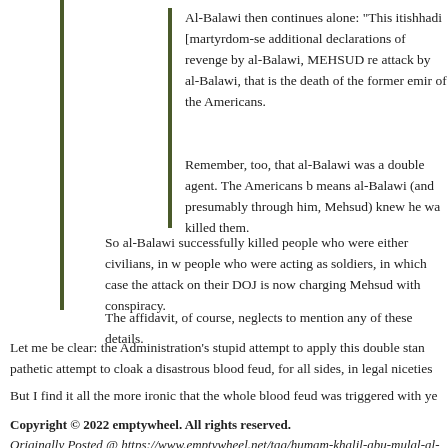Al-Balawi then continues alone: “This itishhadi [martyrdom-se additional declarations of revenge by al-Balawi, MEHSUD re attack by al-Balawi, that is the death of the former emir of the Americans.
Remember, too, that al-Balawi was a double agent. The Americans b means al-Balawi (and presumably through him, Mehsud) knew he wa killed them.
So al-Balawi successfully killed people who were either civilians, in w people who were acting as soldiers, in which case the attack on their DOJ is now charging Mehsud with conspiracy.
The affidavit, of course, neglects to mention any of these details.
Let me be clear: the Administration’s stupid attempt to apply this double stan pathetic attempt to cloak a disastrous blood feud, for all sides, in legal nicitie
But I find it all the more ironic that the whole blood feud was triggered with ye
Copyright © 2022 emptywheel. All rights reserved.
Originally Posted @ https://www.emptywheel.net/tag/humam-khalil-abu-mulal-al-balawi/